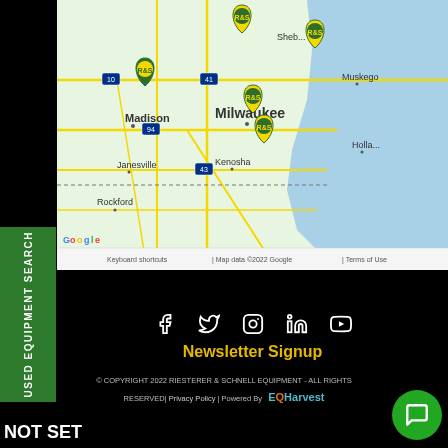[Figure (map): Google Map showing Milwaukee, Wisconsin area with R&S (Riesterer & Schnell) equipment dealer locations marked with green and yellow pins. Cities visible include Madison, Janesville, Rockford, Milwaukee, Kenosha, Sheboygan, Muskegon, Holland. Map footer reads: Keyboard shortcuts | Map data ©2022 Google | Terms of Use]
USED EQUIPMENT SEARCH
Newsletter Signup
© COPYRIGHT 2022 RIESTERER & SCHNELL EQUIPMENT - ALL RIGHTS RESERVED| Privacy Policy | Powered By EQHarvest
NOT SET